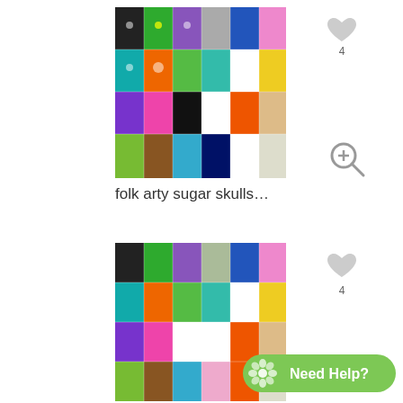[Figure (photo): Grid of colorful folk art sugar skull figures arranged in rows, various bright colors including green, blue, orange, purple, pink, and white on white background]
[Figure (other): Gray heart icon with count 4 below it]
[Figure (other): Gray magnifying glass with plus icon]
folk arty sugar skulls...
[Figure (photo): Second identical grid of colorful folk art sugar skull figures, cropped at bottom]
[Figure (other): Gray heart icon with count 4 below it]
[Figure (other): Green Need Help? button with flower icon]